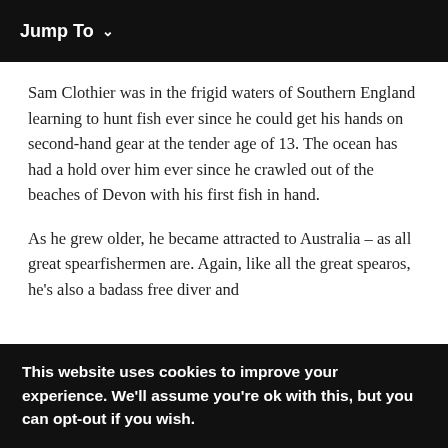Jump To ∨
Sam Clothier was in the frigid waters of Southern England learning to hunt fish ever since he could get his hands on second-hand gear at the tender age of 13. The ocean has had a hold over him ever since he crawled out of the beaches of Devon with his first fish in hand.
As he grew older, he became attracted to Australia – as all great spearfishermen are. Again, like all the great spearos, he's also a badass free diver and
This website uses cookies to improve your experience. We'll assume you're ok with this, but you can opt-out if you wish.